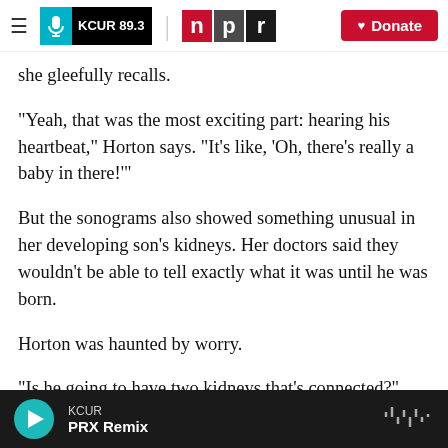KCUR 89.3 | npr | Donate
she gleefully recalls.
“Yeah, that was the most exciting part: hearing his heartbeat,” Horton says. “It’s like, ‘Oh, there’s really a baby in there!’”
But the sonograms also showed something unusual in her developing son’s kidneys. Her doctors said they wouldn’t be able to tell exactly what it was until he was born.
Horton was haunted by worry.
“Is he going to have two kidneys that’s connected?”
KCUR | PRX Remix